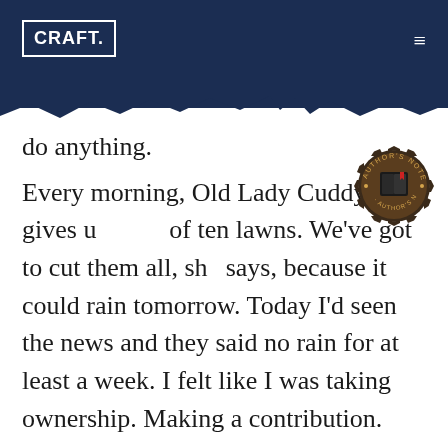CRAFT.
do anything.

Every morning, Old Lady Cuddy gives us a list of ten lawns. We’ve got to cut them all, she says, because it could rain tomorrow. Today I’d seen the news and they said no rain for at least a week. I felt like I was taking ownership. Making a contribution. But Old Lady Cuddy thought I was being lippy, I guess, so she ripped me on several unrelated fronts, including how I’d secured the trimmers (a baby, Rick, a baby could do better), the way the safety chains were hooked to the truck (are you